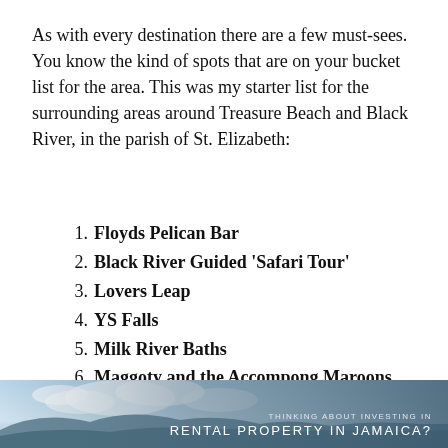As with every destination there are a few must-sees. You know the kind of spots that are on your bucket list for the area. This was my starter list for the surrounding areas around Treasure Beach and Black River, in the parish of St. Elizabeth:
1. Floyds Pelican Bar
2. Black River Guided 'Safari Tour'
3. Lovers Leap
4. YS Falls
5. Milk River Baths
6. Maggoty and the Accompong Maroons
[Figure (photo): Landscape photo of Jamaica coastline with mountains and cloudy sky, with overlay text: THINKING ABOUT INVESTING IN RENTAL PROPERTY IN JAMAICA?]